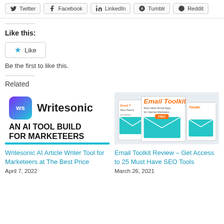Twitter | Facebook | LinkedIn | Tumblr | Reddit
Like this:
Like
Be the first to like this.
Related
[Figure (screenshot): Writesonic AI tool logo and tagline 'AN AI TOOL BUILD FOR MARKETEERS']
[Figure (photo): Email Toolkit product box image - Must Have Email Apps for Internet Marketers]
Writesonic AI Article Writer Tool for Marketeers at The Best Price
April 7, 2022
Email Toolkit Review – Get Access to 25 Must Have SEO Tools
March 26, 2021